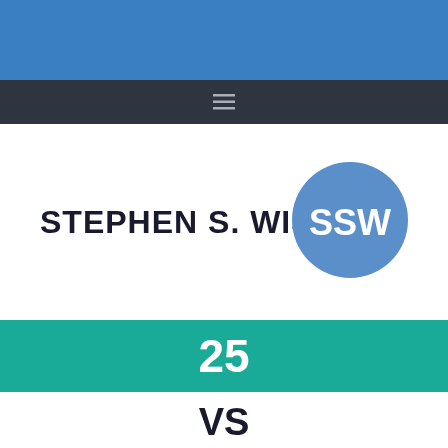[Figure (logo): Navigation bar with hamburger menu icon (three horizontal lines) on dark background]
STEPHEN S. WISE
[Figure (logo): SSW circular logo in medium blue with white letters SSW]
25
VS